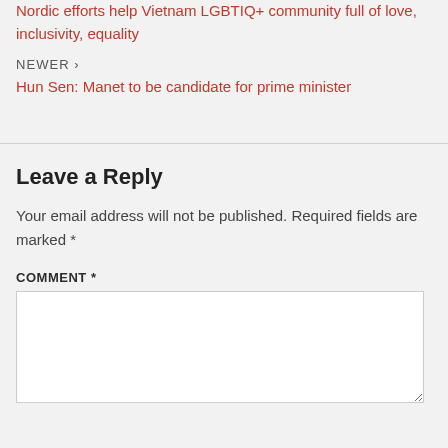Nordic efforts help Vietnam LGBTIQ+ community full of love, inclusivity, equality
NEWER ›
Hun Sen: Manet to be candidate for prime minister
Leave a Reply
Your email address will not be published. Required fields are marked *
COMMENT *